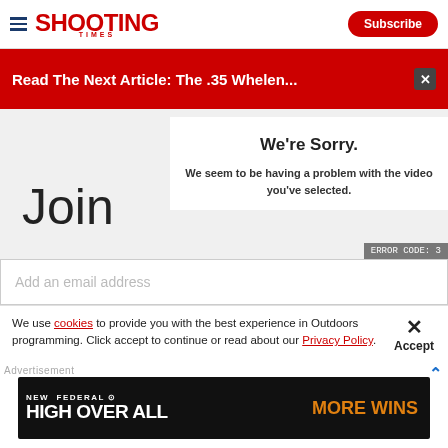Shooting Times | Subscribe
Read The Next Article: The .35 Whelen...
Join
We're Sorry. We seem to be having a problem with the video you've selected.
Add an email address
We use cookies to provide you with the best experience in Outdoors programming. Click accept to continue or read about our Privacy Policy.
[Figure (screenshot): Federal High Over All advertisement banner — dark background with text NEW FEDERAL HIGH OVER ALL MORE WINS]
Advertisement